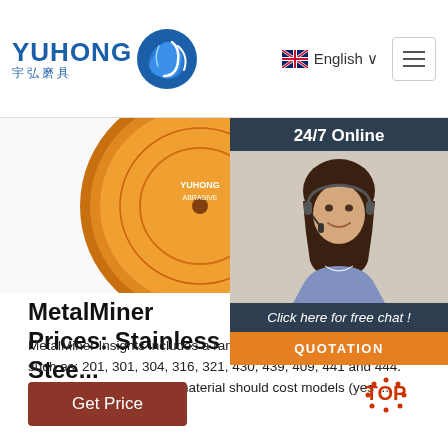YUHONG 宇弘磨具
[Figure (logo): Yuhong logo with blue wave icon, text YUHONG and Chinese characters 宇弘磨具]
[Figure (other): UK flag icon with English language dropdown]
[Figure (other): Hamburger menu icon]
[Figure (photo): Grinding/cutting discs product photo - green and orange/yellow abrasive discs on white background]
[Figure (photo): 24/7 Online chat panel with woman wearing headset, button: Click here for free chat! QUOTATION]
MetalMiner Prices: Stainless Stee...
MetalMiner Insights includes a range of stain... prices for grades such as: 201, 301, 304, 316, 321, 430, 439, 409, 441 and 444. Capabilities include: raw material should cost models (yes ...
[Figure (other): Get Price button in dark red/brown]
[Figure (other): TOP button with orange dots]